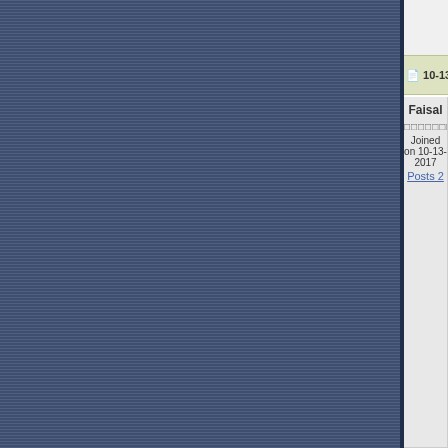[Figure (other): Blue striped sidebar decorative element on the left side of the forum page]
10-13-2017, 12:07 AM
Re: Sp helic
Faisal
□□□□□□□□□
Joined on 10-13-2017
Posts 2
Good M
Hello An
We are Accesso its Head years.
We are are bell
DC Gen
1. Part N
2. Doub
3. Rated
4. Rated
5. Gene
6. Rotat
7. Gene
8. Mads